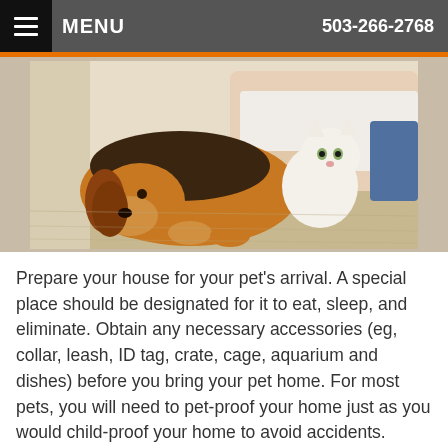MENU  503-266-2768
[Figure (photo): A beagle dog lying on a carpet with a white cat beside it and a person lying behind them]
Prepare your house for your pet's arrival. A special place should be designated for it to eat, sleep, and eliminate. Obtain any necessary accessories (eg, collar, leash, ID tag, crate, cage, aquarium and dishes) before you bring your pet home. For most pets, you will need to pet-proof your home just as you would child-proof your home to avoid accidents. Harmful cleansers, plants, elec                    able objects should be kep                   adows